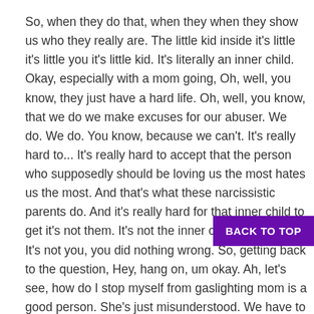So, when they do that, when they when they show us who they really are. The little kid inside it's little it's little you it's little kid. It's literally an inner child. Okay, especially with a mom going, Oh, well, you know, they just have a hard life. Oh, well, you know, that we do we make excuses for our abuser. We do. We do. You know, because we can't. It's really hard to... It's really hard to accept that the person who supposedly should be loving us the most hates us the most. And that's what these narcissistic parents do. And it's really hard for that inner child to get it's not them. It's not the inner child. It's not you. It's not you, you did nothing wrong. So, getting back to the question, Hey, hang on, um okay. Ah, let's see, how do I stop myself from gaslighting mom is a good person. She's just misunderstood. We have to part first. So, what I want you to do is I want you to write down all of the things she's ever done to you. Okay. And I want you to be very clear that none of those had anything, like literally anything to do with you. Every behavior that she had, that was harmful, hurtful, whatever, was a choice. And